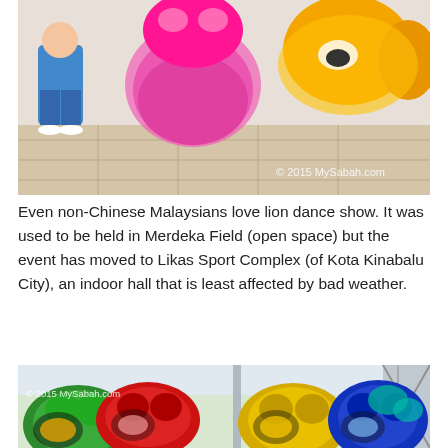[Figure (photo): Children standing next to colorful lion dance costumes (pink and yellow lion heads with fluffy manes) on a tiled floor. Watermark: © 2015 MySabah.com]
Even non-Chinese Malaysians love lion dance show. It was used to be held in Merdeka Field (open space) but the event has moved to Likas Sport Complex (of Kota Kinabalu City), an indoor hall that is least affected by bad weather.
[Figure (photo): Multiple colorful lion dance heads (green, red, yellow, blue) displayed together. Watermark: © 2015 MySabah.com]